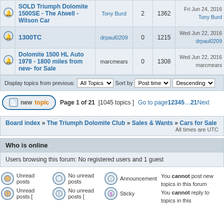|  | Topic | Author | Replies | Views | Last post |
| --- | --- | --- | --- | --- | --- |
| [icon] | SOLD Triumph Dolomite 1500SE - The Atwell - Wilson Car | Tony Burd | 2 | 1362 | Fri Jun 24, 2016
Tony Burd |
| [icon] | 1300TC | drpaul0209 | 0 | 1215 | Wed Jun 22, 2016
drpaul0209 |
| [icon] | Dolomite 1500 HL Auto 1978 - 1800 miles from new- for Sale | marcmears | 0 | 1308 | Wed Jun 22, 2016
marcmears |
Display topics from previous: All Topics ▼  Sort by  Post time ▼  Descending ▼
new topic  Page 1 of 21  [1045 topics ]  Go to page 1 2 3 4 5 … 21 Next
Board index » The Triumph Dolomite Club » Sales & Wants » Cars for Sale
All times are UTC
Who is online
Users browsing this forum: No registered users and 1 guest
Unread posts
No unread posts
Announcement
You cannot post new topics in this forum
Unread posts [
No unread posts [
Sticky
You cannot reply to topics in this